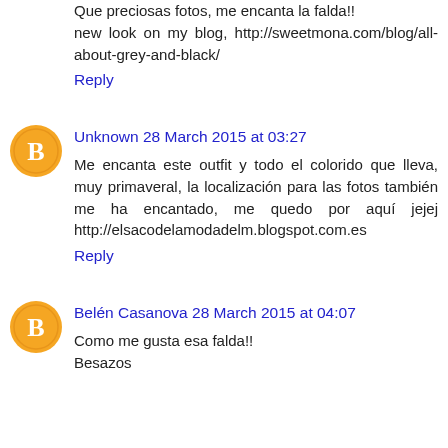Que preciosas fotos, me encanta la falda!!
new look on my blog, http://sweetmona.com/blog/all-about-grey-and-black/
Reply
Unknown 28 March 2015 at 03:27
Me encanta este outfit y todo el colorido que lleva, muy primaveral, la localización para las fotos también me ha encantado, me quedo por aquí jejej http://elsacodelamodadelm.blogspot.com.es
Reply
Belén Casanova 28 March 2015 at 04:07
Como me gusta esa falda!! Besazos